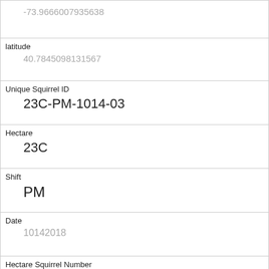| -73.9666007935638 |
| latitude | 40.7845098131567 |
| Unique Squirrel ID | 23C-PM-1014-03 |
| Hectare | 23C |
| Shift | PM |
| Date | 10142018 |
| Hectare Squirrel Number | 3 |
| Age | Adult |
| Primary Fur Color | Gray |
| Highlight Fur Color |  |
| Combination of Primary and Highlight Color |